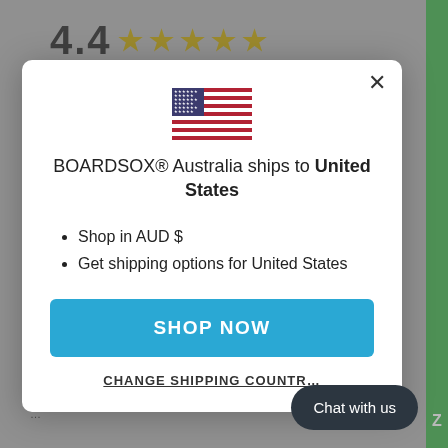[Figure (screenshot): Background page showing a 4.4 star rating and page content behind a modal overlay, with WATERMELON COVER text at the bottom and a green sidebar.]
BOARDSOX® Australia ships to United States
Shop in AUD $
Get shipping options for United States
SHOP NOW
CHANGE SHIPPING COUNTRY
Chat with us
WATERMELON COVER